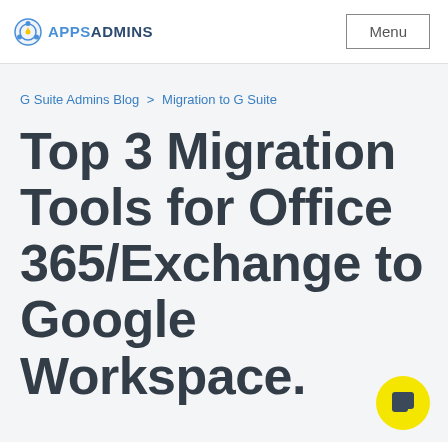APPSADMINS — Menu
G Suite Admins Blog > Migration to G Suite
Top 3 Migration Tools for Office 365/Exchange to Google Workspace.